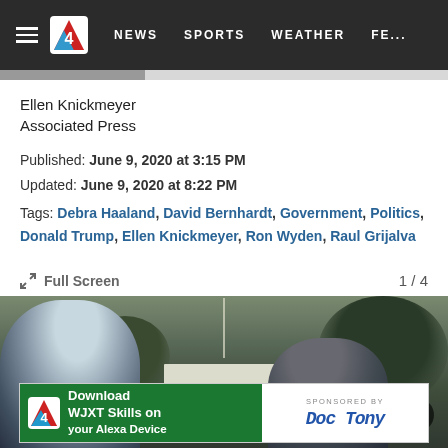NEWS   SPORTS   WEATHER   FE...
Ellen Knickmeyer
Associated Press
Published: June 9, 2020 at 3:15 PM
Updated: June 9, 2020 at 8:22 PM
Tags: Debra Haaland, David Bernhardt, Government, Politics, Donald Trump, Ellen Knickmeyer, Ron Wyden, Raul Grijalva
Full Screen   1 / 4
[Figure (photo): Protesters and police in riot gear near the White House, with dark silhouetted figures in foreground and White House visible in background among trees]
[Figure (infographic): Advertisement banner: Download WJXT Skills on your Alexa Device. Sponsored by Doc Tony (script signature)]